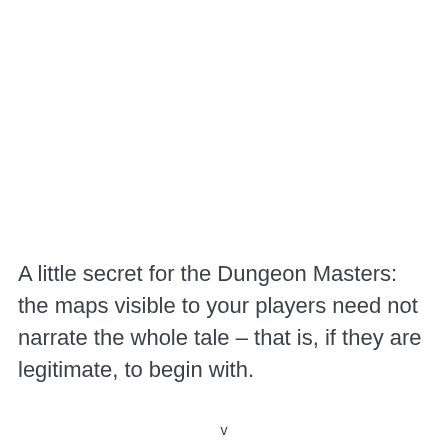A little secret for the Dungeon Masters: the maps visible to your players need not narrate the whole tale – that is, if they are legitimate, to begin with.
v